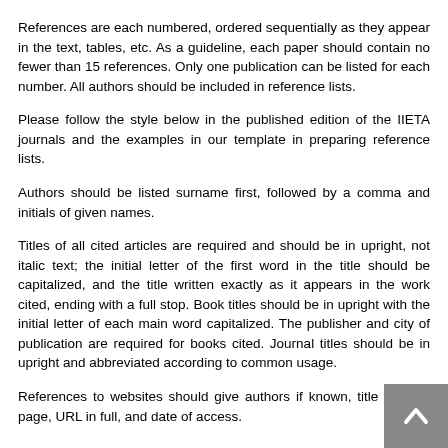References are each numbered, ordered sequentially as they appear in the text, tables, etc. As a guideline, each paper should contain no fewer than 15 references. Only one publication can be listed for each number. All authors should be included in reference lists.
Please follow the style below in the published edition of the IIETA journals and the examples in our template in preparing reference lists.
Authors should be listed surname first, followed by a comma and initials of given names.
Titles of all cited articles are required and should be in upright, not italic text; the initial letter of the first word in the title should be capitalized, and the title written exactly as it appears in the work cited, ending with a full stop. Book titles should be in upright with the initial letter of each main word capitalized. The publisher and city of publication are required for books cited. Journal titles should be in upright and abbreviated according to common usage.
References to websites should give authors if known, title of cited page, URL in full, and date of access.